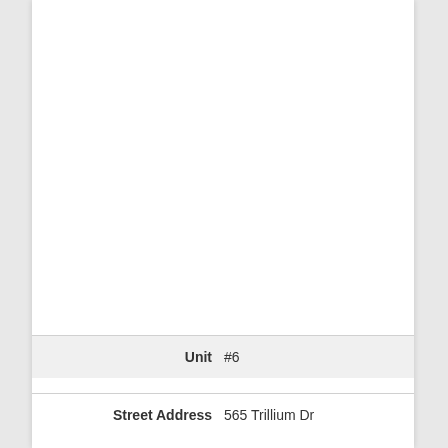| Field | Value |
| --- | --- |
| Unit | #6 |
| Street Address | 565 Trillium Dr |